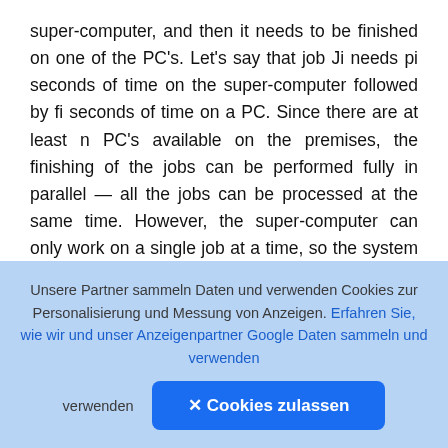super-computer, and then it needs to be finished on one of the PC's. Let's say that job Ji needs pi seconds of time on the super-computer followed by fi seconds of time on a PC. Since there are at least n PC's available on the premises, the finishing of the jobs can be performed fully in parallel — all the jobs can be processed at the same time. However, the super-computer can only work on a single job at a time, so the system managers need to work out an order in which to feed the jobs to the super-computer. As soon as the first job in o done on the super-computer, it can be hand to a PC for finishing; at that point in time a second job can be fed to the super-computer; when the
[Figure (other): Upload/navigation button — dark rounded square with a circle-arrow-up icon]
Unsere Partner sammeln Daten und verwenden Cookies zur Personalisierung und Messung von Anzeigen. Erfahren Sie, wie wir und unser Anzeigenpartner Google Daten sammeln und verwenden